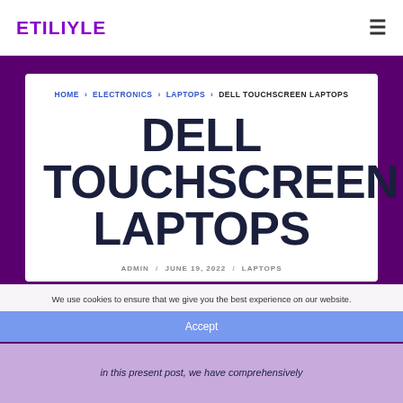ETILIYLE
HOME › ELECTRONICS › LAPTOPS › DELL TOUCHSCREEN LAPTOPS
DELL TOUCHSCREEN LAPTOPS
ADMIN / JUNE 19, 2022 / LAPTOPS
We use cookies to ensure that we give you the best experience on our website.
Accept
in this present post, we have comprehensively